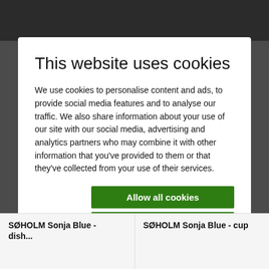This website uses cookies
We use cookies to personalise content and ads, to provide social media features and to analyse our traffic. We also share information about your use of our site with our social media, advertising and analytics partners who may combine it with other information that you've provided to them or that they've collected from your use of their services.
Allow all cookies
Allow selection
Use necessary cookies only
Necessary  Preferences  Statistics  Marketing  Show details
SØHOLM Sonja Blue - dish...
SØHOLM Sonja Blue - cup